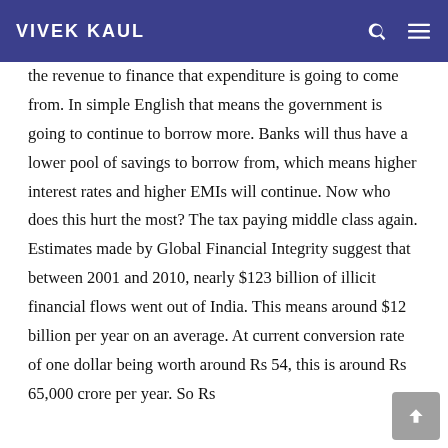VIVEK KAUL
the revenue to finance that expenditure is going to come from. In simple English that means the government is going to continue to borrow more. Banks will thus have a lower pool of savings to borrow from, which means higher interest rates and higher EMIs will continue. Now who does this hurt the most? The tax paying middle class again.
Estimates made by Global Financial Integrity suggest that between 2001 and 2010, nearly $123 billion of illicit financial flows went out of India. This means around $12 billion per year on an average. At current conversion rate of one dollar being worth around Rs 54, this is around Rs 65,000 crore per year. So Rs